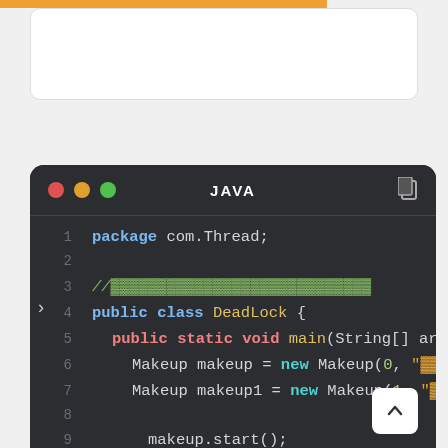[Figure (screenshot): A dark-themed Java code editor window showing a DeadLock class with traffic light window controls (red, yellow, green), 'JAVA' title, and code lines 1-14. Code shows package declaration, DeadLock class with main method, Makeup object instantiation, and start() calls.]